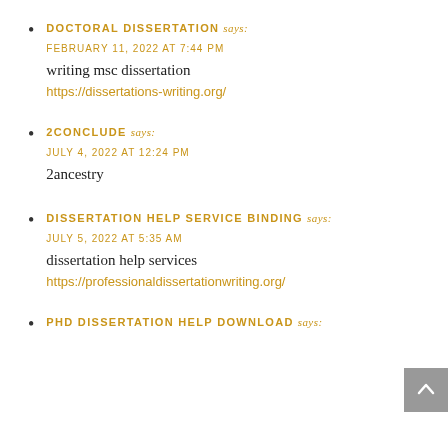DOCTORAL DISSERTATION says: FEBRUARY 11, 2022 AT 7:44 PM
writing msc dissertation
https://dissertations-writing.org/
2CONCLUDE says: JULY 4, 2022 AT 12:24 PM
2ancestry
DISSERTATION HELP SERVICE BINDING says: JULY 5, 2022 AT 5:35 AM
dissertation help services
https://professionaldissertationwriting.org/
PHD DISSERTATION HELP DOWNLOAD says: